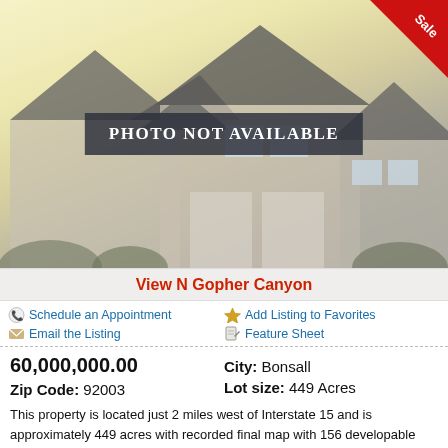[Figure (photo): Placeholder house image with 'PHOTO NOT AVAILABLE' overlay and a Sale badge in the top right corner]
View N Gopher Canyon
Schedule an Appointment
Add Listing to Favorites
Email the Listing
Feature Sheet
60,000,000.00
City: Bonsall
Zip Code: 92003
Lot size: 449 Acres
This property is located just 2 miles west of Interstate 15 and is approximately 449 acres with recorded final map with 156 developable lots ranging in 1 - 20 acres. It has 130 multiple parcels; The grading